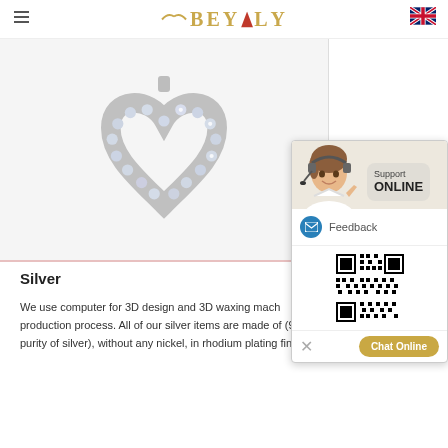BEYALY
[Figure (photo): Close-up photo of a silver heart-shaped pendant/necklace studded with clear cubic zirconia stones, shown on white background with pink border]
Silver
We use computer for 3D design and 3D waxing machine in our production process. All of our silver items are made of (92.5% purity of silver), without any nickel, in rhodium plating finish.
[Figure (screenshot): Customer support chat widget showing: a female customer support agent with headset, 'Support ONLINE' label, Feedback button with email icon, QR code, and 'Chat Online' button]